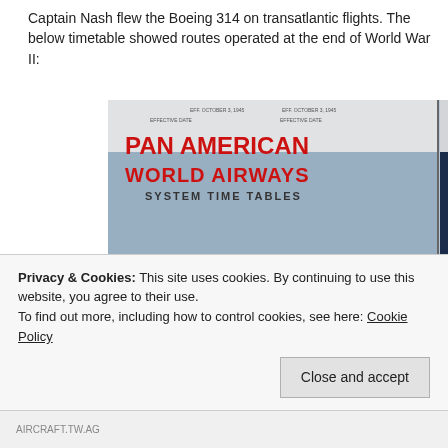Captain Nash flew the Boeing 314 on transatlantic flights. The below timetable sho... operated at the end of World War II:
[Figure (photo): Pan American World Airways System Time Tables cover showing two copies side by side — left with a Boeing flying boat aircraft in flight, right with the PAA winged globe logo. Also visible on the right side is a partial scan of the actual timetable route pages showing sections: 1 U.S.A.–Canada–Newfoundlands–Eire–England, 2 U.S.A.–Bermuda–Azores–Portugal, 3 Portugal–West Africa–Brazil, 4 Liberia–Belgian Congo. A cookie consent banner overlays the bottom of the image.]
Privacy & Cookies: This site uses cookies. By continuing to use this website, you agree to their use.
To find out more, including how to control cookies, see here: Cookie Policy
Close and accept